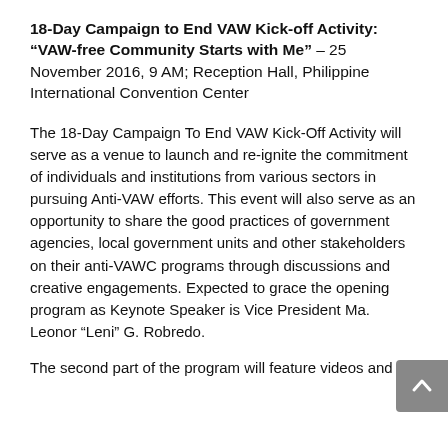18-Day Campaign to End VAW Kick-off Activity: “VAW-free Community Starts with Me” – 25 November 2016, 9 AM; Reception Hall, Philippine International Convention Center
The 18-Day Campaign To End VAW Kick-Off Activity will serve as a venue to launch and re-ignite the commitment of individuals and institutions from various sectors in pursuing Anti-VAW efforts. This event will also serve as an opportunity to share the good practices of government agencies, local government units and other stakeholders on their anti-VAWC programs through discussions and creative engagements. Expected to grace the opening program as Keynote Speaker is Vice President Ma. Leonor “Leni” G. Robredo.
The second part of the program will feature videos and